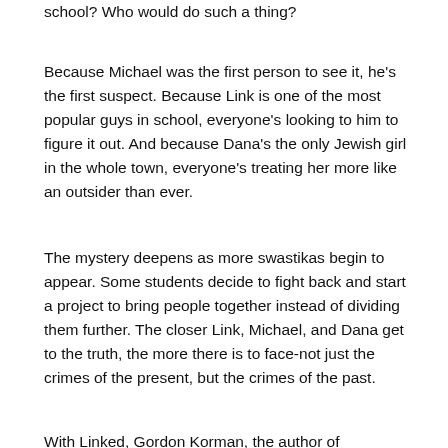school? Who would do such a thing?
Because Michael was the first person to see it, he's the first suspect. Because Link is one of the most popular guys in school, everyone's looking to him to figure it out. And because Dana's the only Jewish girl in the whole town, everyone's treating her more like an outsider than ever.
The mystery deepens as more swastikas begin to appear. Some students decide to fight back and start a project to bring people together instead of dividing them further. The closer Link, Michael, and Dana get to the truth, the more there is to face-not just the crimes of the present, but the crimes of the past.
With Linked, Gordon Korman, the author of